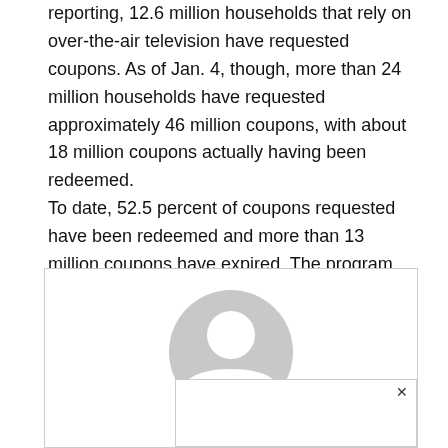reporting, 12.6 million households that rely on over-the-air television have requested coupons. As of Jan. 4, though, more than 24 million households have requested approximately 46 million coupons, with about 18 million coupons actually having been redeemed.
To date, 52.5 percent of coupons requested have been redeemed and more than 13 million coupons have expired. The program allows for two $40 coupons per household to help offset the cost of digital converter boxes for nondigital television sets.
[Figure (illustration): A generic user avatar icon (gray silhouette of a person's head and shoulders in a circle) above a partially visible comment input box with an X close button.]